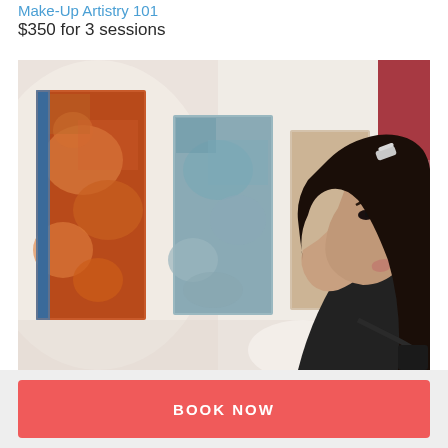Make-Up Artistry 101
$350 for 3 sessions
[Figure (photo): A young woman with long dark hair and a hair clip stands in profile view, closely examining colorful abstract paintings hanging on a white gallery wall. She wears a black sleeveless top. The background shows blurred colorful artworks and a red wall panel on the right.]
BOOK NOW